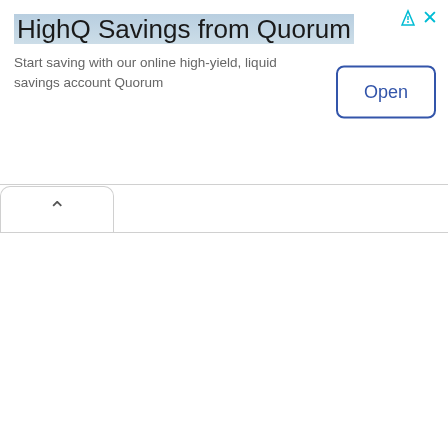[Figure (screenshot): Advertisement banner for HighQ Savings from Quorum. Contains title text 'HighQ Savings from Quorum', body text 'Start saving with our online high-yield, liquid savings account Quorum', an 'Open' button, and ad icons in top right corner.]
[Figure (screenshot): A collapsed tab/pill UI element with an upward chevron arrow, positioned below the advertisement banner.]